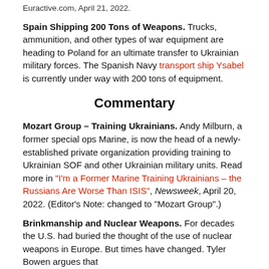Euractive.com, April 21, 2022.
Spain Shipping 200 Tons of Weapons. Trucks, ammunition, and other types of war equipment are heading to Poland for an ultimate transfer to Ukrainian military forces. The Spanish Navy transport ship Ysabel is currently under way with 200 tons of equipment.
Commentary
Mozart Group – Training Ukrainians. Andy Milburn, a former special ops Marine, is now the head of a newly-established private organization providing training to Ukrainian SOF and other Ukrainian military units. Read more in "I'm a Former Marine Training Ukrainians – the Russians Are Worse Than ISIS", Newsweek, April 20, 2022. (Editor's Note: changed to "Mozart Group".)
Brinkmanship and Nuclear Weapons. For decades the U.S. had buried the thought of the use of nuclear weapons in Europe. But times have changed. Tyler Bowen argues that